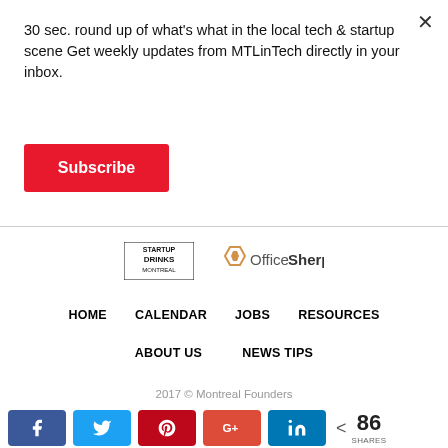30 sec. round up of what's what in the local tech & startup scene Get weekly updates from MTLinTech directly in your inbox.
Subscribe
[Figure (logo): Startup Drinks Montreal logo and OfficeSherpa logo]
HOME    CALENDAR    JOBS    RESOURCES
ABOUT US    NEWS TIPS
2017 © Montreal Founders
[Figure (infographic): Social share buttons: Facebook, Twitter, Pinterest, Google+, LinkedIn, and share count showing 86 SHARES]